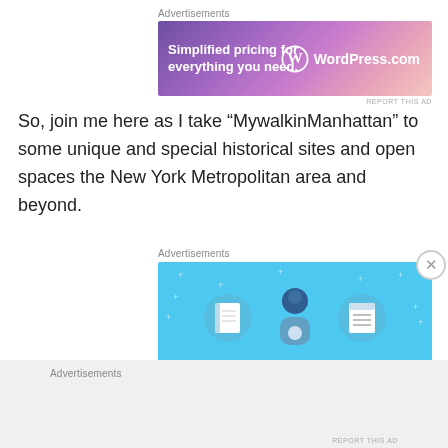Advertisements
[Figure (illustration): WordPress.com advertisement banner with gradient pink-purple background: 'Simplified pricing for everything you need.' with WordPress.com logo]
REPORT THIS AD
So, join me here as I take “MywalkinManhattan” to some unique and special historical sites and open spaces the New York Metropolitan area and beyond.
Advertisements
[Figure (illustration): Day One journaling app advertisement on light blue background showing a person holding a phone with notebook icons on either side. Text: 'DAY ONE' and 'The only journaling']
Advertisements